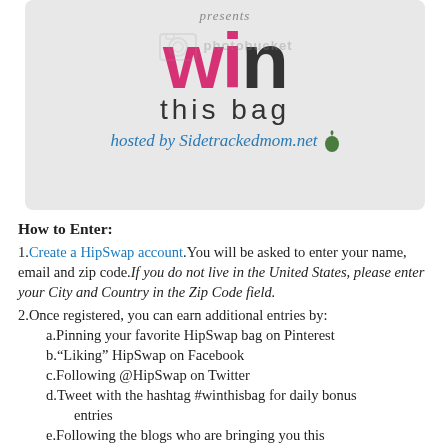[Figure (illustration): Giveaway banner image on light grey background showing 'WIN this bag hosted by Sidetrackedmom.net' with Photobucket watermark overlay]
How to Enter:
1. Create a HipSwap account. You will be asked to enter your name, email and zip code. If you do not live in the United States, please enter your City and Country in the Zip Code field.
2. Once registered, you can earn additional entries by:
a. Pinning your favorite HipSwap bag on Pinterest
b. "Liking" HipSwap on Facebook
c. Following @HipSwap on Twitter
d. Tweet with the hashtag #winthisbag for daily bonus entries
e. Following the blogs who are bringing you this awesome giveaway
To be credited, all entries must be completed using the Giveaway Tools widget below. You can complete as many or